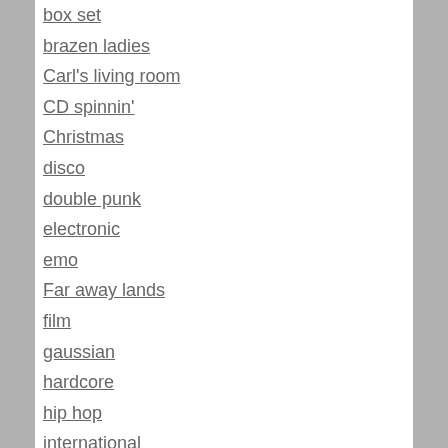box set
brazen ladies
Carl's living room
CD spinnin'
Christmas
disco
double punk
electronic
emo
Far away lands
film
gaussian
hardcore
hip hop
international
LP played alphabetically
LP tracks
metal
Mukatsuku